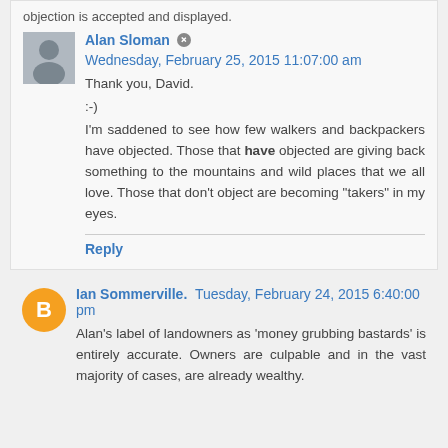objection is accepted and displayed.
Alan Sloman  Wednesday, February 25, 2015 11:07:00 am
Thank you, David.
:-)
I'm saddened to see how few walkers and backpackers have objected. Those that have objected are giving back something to the mountains and wild places that we all love. Those that don't object are becoming "takers" in my eyes.
Reply
Ian Sommerville.  Tuesday, February 24, 2015 6:40:00 pm
Alan's label of landowners as 'money grubbing bastards' is entirely accurate. Owners are culpable and in the vast majority of cases, are already wealthy.